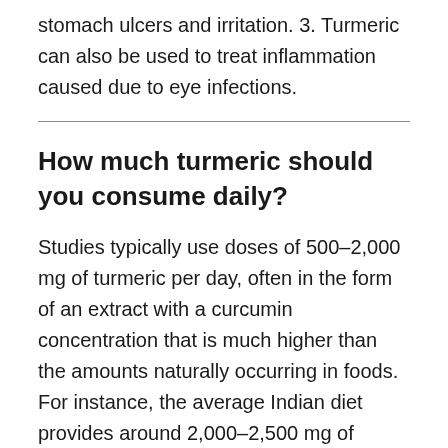stomach ulcers and irritation. 3. Turmeric can also be used to treat inflammation caused due to eye infections.
How much turmeric should you consume daily?
Studies typically use doses of 500–2,000 mg of turmeric per day, often in the form of an extract with a curcumin concentration that is much higher than the amounts naturally occurring in foods. For instance, the average Indian diet provides around 2,000–2,500 mg of turmeric (60–100 mg of curcumin) per day.